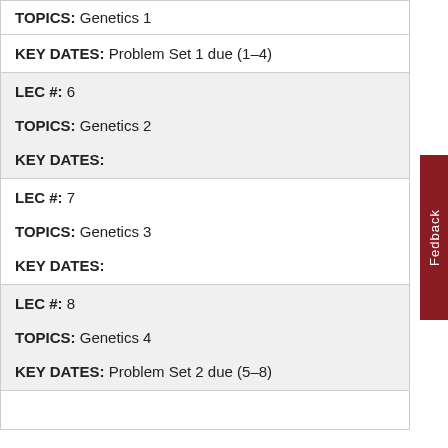| TOPICS: Genetics 1 |
| KEY DATES: Problem Set 1 due (1–4) |
| LEC #: 6 | TOPICS: Genetics 2 | KEY DATES: |
| LEC #: 7 | TOPICS: Genetics 3 | KEY DATES: |
| LEC #: 8 | TOPICS: Genetics 4 | KEY DATES: Problem Set 2 due (5–8) |